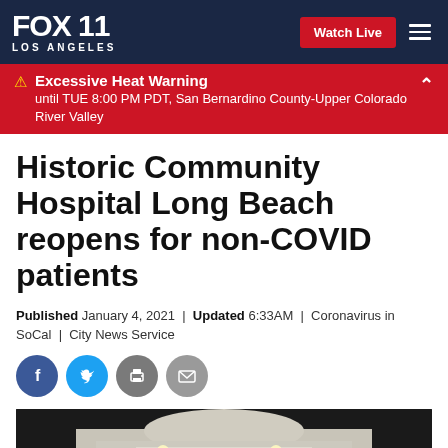FOX 11 LOS ANGELES
Excessive Heat Warning — until TUE 8:00 PM PDT, San Bernardino County-Upper Colorado River Valley
Historic Community Hospital Long Beach reopens for non-COVID patients
Published January 4, 2021 | Updated 6:33AM | Coronavirus in SoCal | City News Service
[Figure (photo): Night-time exterior photo of Community Hospital building with signage lit up]
[Figure (screenshot): Social media sharing buttons: Facebook, Twitter, Print, Email]